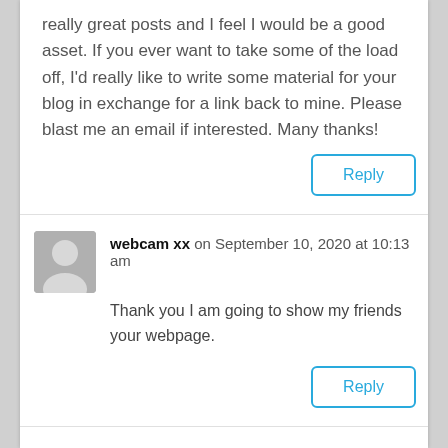really great posts and I feel I would be a good asset. If you ever want to take some of the load off, I'd really like to write some material for your blog in exchange for a link back to mine. Please blast me an email if interested. Many thanks!
Reply
webcam xx on September 10, 2020 at 10:13 am
Thank you I am going to show my friends your webpage.
Reply
bivaagaw.com on September 10, 2020 at 10:47